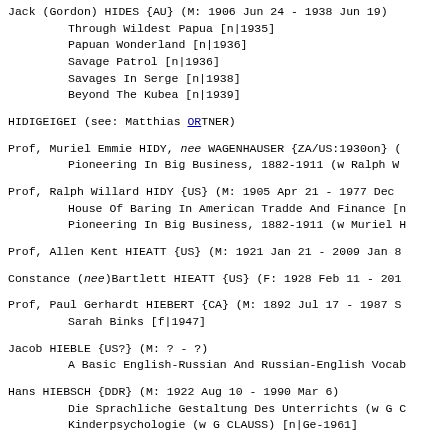Jack (Gordon) HIDES {AU} (M: 1906 Jun 24 - 1938 Jun 19)
	Through Wildest Papua [n|1935]
	Papuan Wonderland [n|1936]
	Savage Patrol [n|1936]
	Savages In Serge [n|1938]
	Beyond The Kubea [n|1939]
HIDIGEIGEI (see: Matthias ORTNER)
Prof, Muriel Emmie HIDY, nee WAGENHAUSER {ZA/US:1930on}
	Pioneering In Big Business, 1882-1911 (w Ralph W
Prof, Ralph Willard HIDY {US} (M: 1905 Apr 21 - 1977 Dec
	House Of Baring In American Tradde And Finance [n
	Pioneering In Big Business, 1882-1911 (w Muriel H
Prof, Allen Kent HIEATT {US} (M: 1921 Jan 21 - 2009 Jan 8
Constance (nee)Bartlett HIEATT {US} (F: 1928 Feb 11 - 201
Prof, Paul Gerhardt HIEBERT {CA} (M: 1892 Jul 17 - 1987 S
	Sarah Binks [f|1947]
Jacob HIEBLE {US?} (M: ? - ?)
	A Basic English-Russian And Russian-English Vocabu
Hans HIEBSCH {DDR} (M: 1922 Aug 10 - 1990 Mar 6)
	Die Sprachliche Gestaltung Des Unterrichts (w G C
	Kinderpsychologie (w G CLAUSS) [n|Ge-1961]